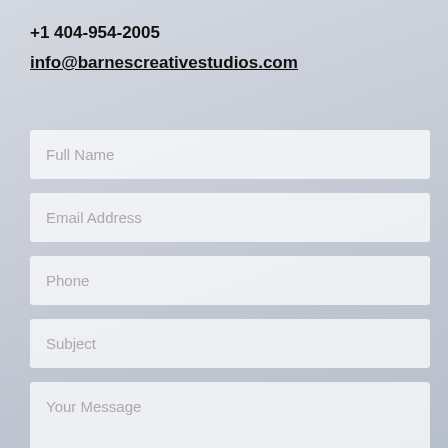+1 404-954-2005
info@barnescreativestudios.com
Full Name
Email Address
Phone
Subject
Your Message